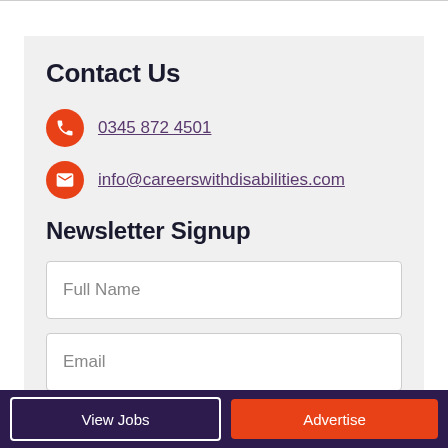Contact Us
0345 872 4501
info@careerswithdisabilities.com
Newsletter Signup
Full Name
Email
View Jobs | Advertise